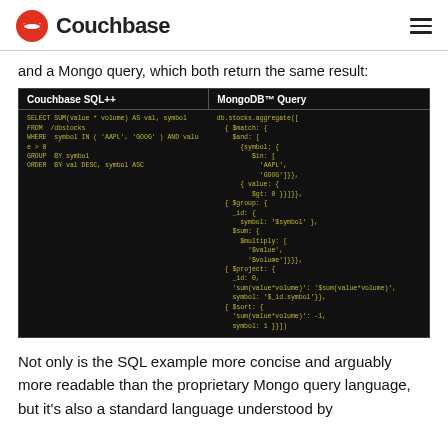Couchbase
and a Mongo query, which both return the same result:
| Couchbase SQL++ | MongoDB™ Query |
| --- | --- |
| SELECT SUM(value * volume) AS val, symbol
FROM /dbstocks
WHERE symbol IN ( 'AAPL', 'GOOG' ) AND value > 0
GROUP BY symbol
ORDER BY val DESC, symbol ASC | db.stocks.aggregate([
  { $match: {
    $and: [
      {symbol: {
         $in: [
           'AAPL',
           'GOOG']}},
      { value: {
         $gt: 0 }}]}},
  { $group: {
    _id: {
      symbol: '$symbol' },
    $sum: {
      $multiply: [
        '$value',
        '$volume']}}}},
  { $project: {
    _id: 0,
    'sum(value*volume)': '$sum(value*volume)',
    symbol: '$_id.symbol'}},
  { $sort: {
    'sum(value*volume)': -1,
    symbol: 1 }}]) |
Not only is the SQL example more concise and arguably more readable than the proprietary Mongo query language, but it's also a standard language understood by